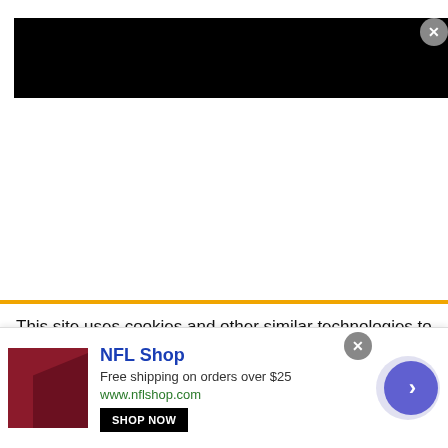[Figure (screenshot): Black navigation/header bar with barcode-like vertical stripes on the right and a circular close (X) button]
This site uses cookies and other similar technologies to provide site functionality, analyze traffic and usage, and
[Figure (screenshot): NFL Shop advertisement banner: red product image on left, 'NFL Shop' title in blue, 'Free shipping on orders over $25', 'www.nflshop.com', 'SHOP NOW' button, circular close button, and blue circular next/arrow button on right]